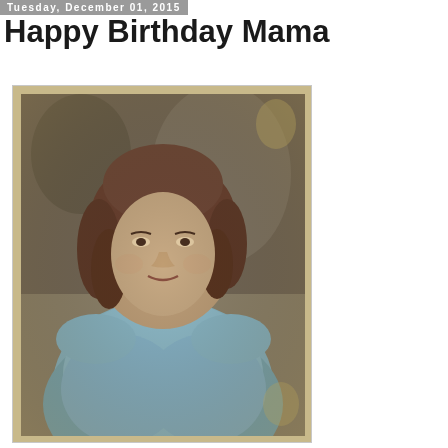Tuesday, December 01, 2015
Happy Birthday Mama
[Figure (photo): Old black and white photograph of a woman wearing a light blue top, with shoulder-length brown hair, looking at the camera. The photo appears aged and has a vintage sepia/monochrome quality with a beige/tan border.]